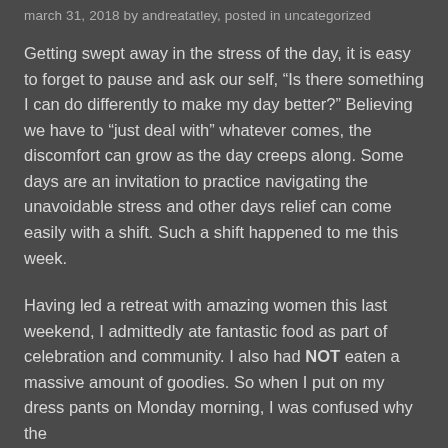march 31, 2018 by andreatatley, posted in uncategorized
Getting swept away in the stress of the day, it is easy to forget to pause and ask our self, “Is there something I can do differently to make my day better?” Believing we have to “just deal with” whatever comes, the discomfort can grow as the day creeps along. Some days are an invitation to practice navigating the unavoidable stress and other days relief can come easily with a shift. Such a shift happened to me this week.
Having led a retreat with amazing women this last weekend, I admittedly ate fantastic food as part of celebration and community. I also had NOT eaten a massive amount of goodies. So when I put on my dress pants on Monday morning, I was confused why the